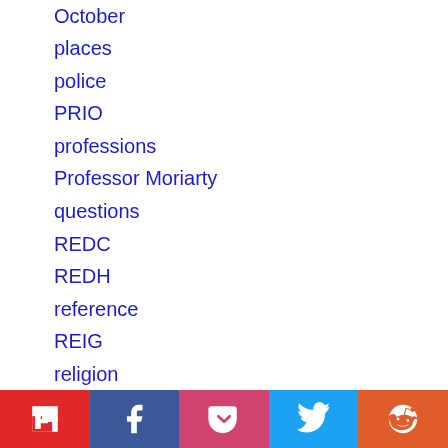October
places
police
PRIO
professions
Professor Moriarty
questions
REDC
REDH
reference
REIG
religion
RESI
RETI
SCAN
scents
scholarship
Flipboard | Facebook | Pocket | Twitter | Reddit